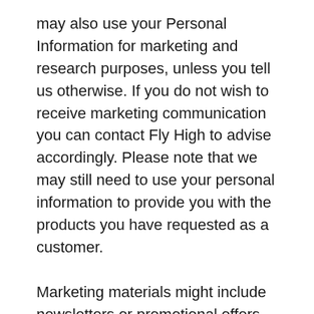may also use your Personal Information for marketing and research purposes, unless you tell us otherwise. If you do not wish to receive marketing communication you can contact Fly High to advise accordingly. Please note that we may still need to use your personal information to provide you with the products you have requested as a customer.
Marketing materials might include newsletters or promotional offers from time to time. Research we will conduct will help us develop and market our services more effectively or to identify other services that might be beneficial to you.